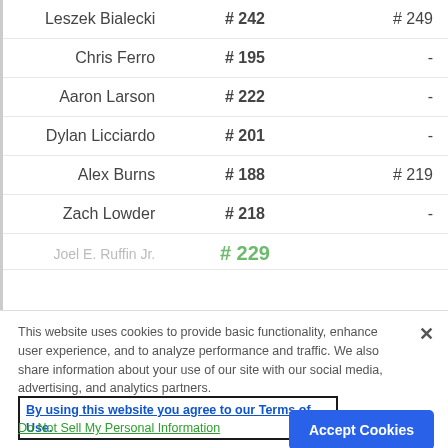| Name | Current # | Previous # |
| --- | --- | --- |
| Leszek Bialecki | # 242 | # 249 |
| Chris Ferro | # 195 | - |
| Aaron Larson | # 222 | - |
| Dylan Licciardo | # 201 | - |
| Alex Burns | # 188 | # 219 |
| Zach Lowder | # 218 | - |
| Joel E. Ruffin Jr. | # 229 |  |
This website uses cookies to provide basic functionality, enhance user experience, and to analyze performance and traffic. We also share information about your use of our site with our social media, advertising, and analytics partners.
By using this website you agree to our Terms of Use.
Do Not Sell My Personal Information
Accept Cookies